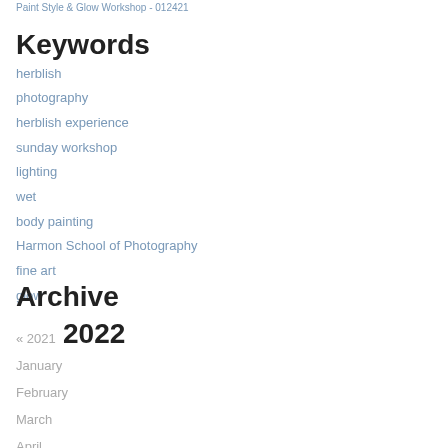Paint Style & Glow Workshop - 012421
Keywords
herblish
photography
herblish experience
sunday workshop
lighting
wet
body painting
Harmon School of Photography
fine art
glow
Archive
« 2021  2022
January
February
March
April
May